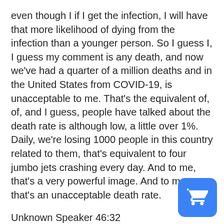even though I if I get the infection, I will have that more likelihood of dying from the infection than a younger person. So I guess I, I guess my comment is any death, and now we've had a quarter of a million deaths and in the United States from COVID-19, is unacceptable to me. That's the equivalent of, of, and I guess, people have talked about the death rate is although low, a little over 1%. Daily, we're losing 1000 people in this country related to them, that's equivalent to four jumbo jets crashing every day. And to me, that's a very powerful image. And to me, that's an unacceptable death rate.
Unknown Speaker 46:32
Yeah, I absolutely agree. And so fatality rate really doesn't affect the the guidelines or any kind of determinations as they pertain to public health guidelines. Right. It's more case, positivity. All
Unknown Speaker 46:51